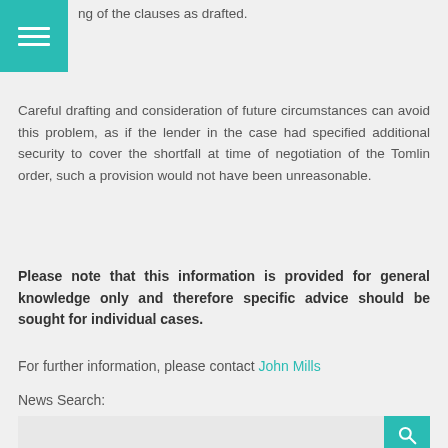ng of the clauses as drafted.
Careful drafting and consideration of future circumstances can avoid this problem, as if the lender in the case had specified additional security to cover the shortfall at time of negotiation of the Tomlin order, such a provision would not have been unreasonable.
Please note that this information is provided for general knowledge only and therefore specific advice should be sought for individual cases.
For further information, please contact John Mills
News Search: